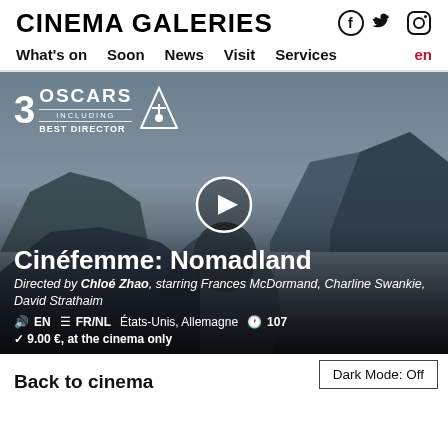CINEMA GALERIES
[Figure (logo): CinemaGaleries logo in bold black uppercase text]
[Figure (illustration): Social media icons: Facebook, Twitter, Instagram]
What's on  Soon  News  Visit  Services  en
[Figure (photo): Movie scene from Nomadland: woman with dark hair against rocky landscape and dramatic sky. Overlay shows '3 OSCARS INCLUDING BEST DIRECTOR' badge and a play button circle.]
Cinéfemme: Nomadland
Directed by Chloé Zhao, starring Frances McDormand, Charline Swankie, David Strathaim
🔊 EN  ≡ FR/NL   États-Unis, Allemagne  🕐 107
✓ 9.00 €, at the cinema only
Back to cinema
Dark Mode: Off